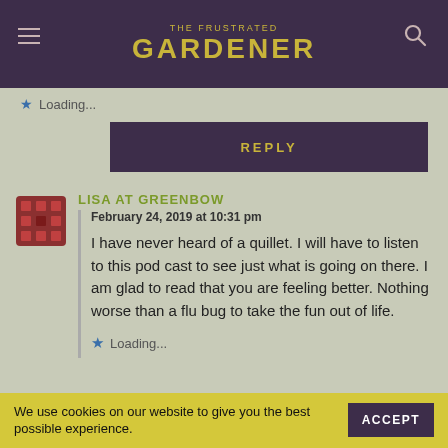THE FRUSTRATED GARDENER
Loading...
REPLY
LISA AT GREENBOW
February 24, 2019 at 10:31 pm
I have never heard of a quillet. I will have to listen to this pod cast to see just what is going on there. I am glad to read that you are feeling better. Nothing worse than a flu bug to take the fun out of life.
Loading...
We use cookies on our website to give you the best possible experience.